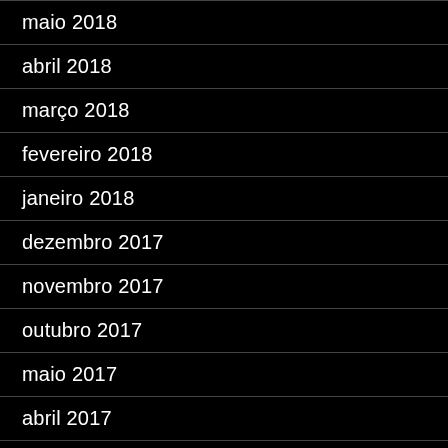maio 2018
abril 2018
março 2018
fevereiro 2018
janeiro 2018
dezembro 2017
novembro 2017
outubro 2017
maio 2017
abril 2017
março 2017
fevereiro 2017
janeiro 2017